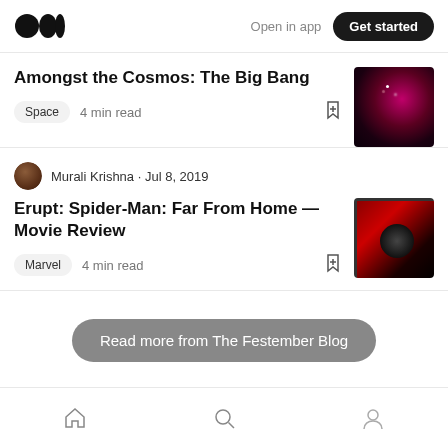Open in app | Get started
Amongst the Cosmos: The Big Bang
Space  4 min read
Murali Krishna · Jul 8, 2019
Erupt: Spider-Man: Far From Home — Movie Review
Marvel  4 min read
Read more from The Festember Blog
Home | Search | Profile